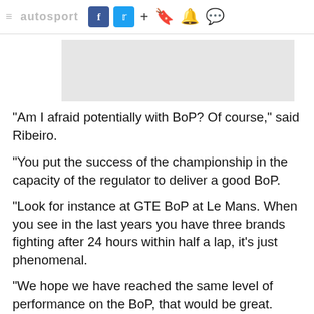Social share bar with Facebook, Twitter, plus, bookmark, notification, and comment icons
[Figure (other): Gray advertisement placeholder rectangle]
"Am I afraid potentially with BoP? Of course," said Ribeiro.
"You put the success of the championship in the capacity of the regulator to deliver a good BoP.
"Look for instance at GTE BoP at Le Mans. When you see in the last years you have three brands fighting after 24 hours within half a lap, it's just phenomenal.
"We hope we have reached the same level of performance on the BoP, that would be great.
"But we've worked very hard on this to make sure it is not artificial and it does not become too complex,